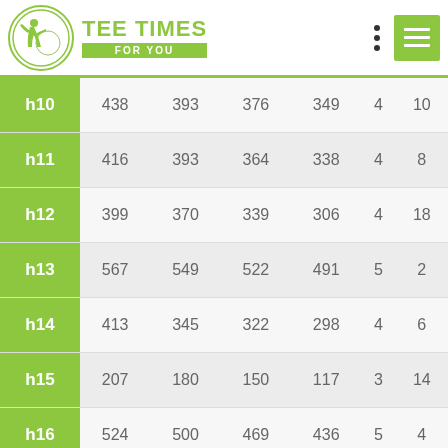TEE TIMES FOR YOU
| Hole | Col1 | Col2 | Col3 | Col4 | Par | HCP |
| --- | --- | --- | --- | --- | --- | --- |
| h10 | 438 | 393 | 376 | 349 | 4 | 10 |
| h11 | 416 | 393 | 364 | 338 | 4 | 8 |
| h12 | 399 | 370 | 339 | 306 | 4 | 18 |
| h13 | 567 | 549 | 522 | 491 | 5 | 2 |
| h14 | 413 | 345 | 322 | 298 | 4 | 6 |
| h15 | 207 | 180 | 150 | 117 | 3 | 14 |
| h16 | 524 | 500 | 469 | 436 | 5 | 4 |
| h17 | 224 | 200 | 171 | 138 | 3 | 12 |